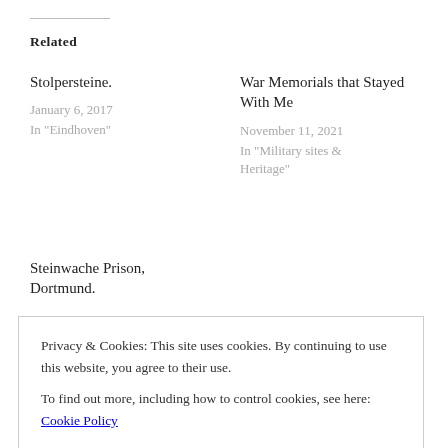Related
Stolpersteine.
January 6, 2017
In "Eindhoven"
War Memorials that Stayed With Me
November 11, 2021
In "Military sites & Heritage"
Steinwache Prison, Dortmund.
August 9, 2017
Privacy & Cookies: This site uses cookies. By continuing to use this website, you agree to their use.
To find out more, including how to control cookies, see here: Cookie Policy
CLOSE AND ACCEPT